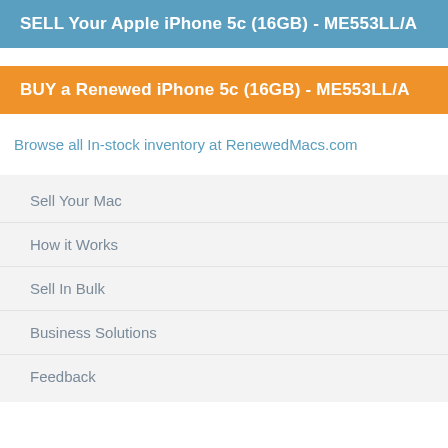SELL Your Apple iPhone 5c (16GB) - ME553LL/A
BUY a Renewed iPhone 5c (16GB) - ME553LL/A
Browse all In-stock inventory at RenewedMacs.com
Sell Your Mac
How it Works
Sell In Bulk
Business Solutions
Feedback